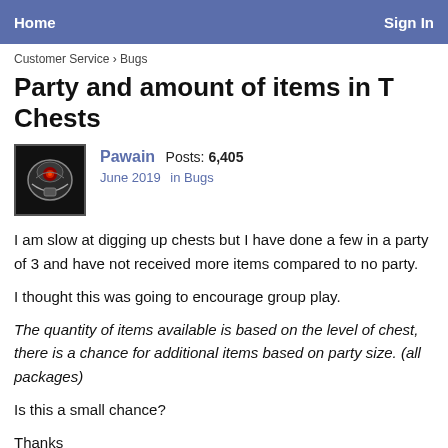Home   Sign In
Customer Service › Bugs
Party and amount of items in T Chests
Pawain  Posts: 6,405
June 2019  in Bugs
I am slow at digging up chests but I have done a few in a party of 3 and have not received more items compared to no party.
I thought this was going to encourage group play.
The quantity of items available is based on the level of chest, there is a chance for additional items based on party size. (all packages)
Is this a small chance?
Thanks